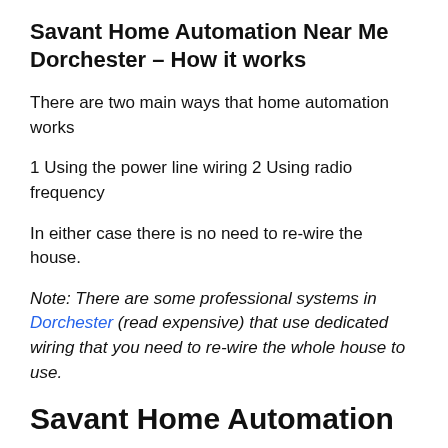Savant Home Automation Near Me Dorchester – How it works
There are two main ways that home automation works
1 Using the power line wiring 2 Using radio frequency
In either case there is no need to re-wire the house.
Note: There are some professional systems in Dorchester (read expensive) that use dedicated wiring that you need to re-wire the whole house to use.
Savant Home Automation